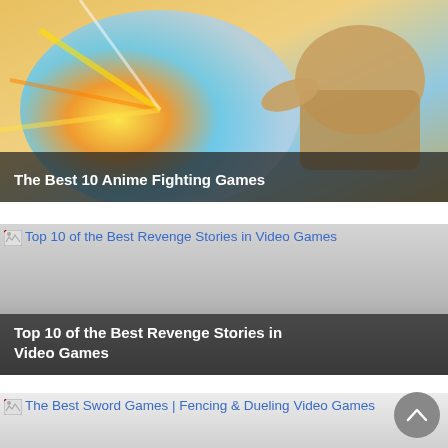[Figure (illustration): Anime fighting game artwork showing a character with bright energy effects in blue, yellow, and orange tones. Title overlay: 'The Best 10 Anime Fighting Games']
[Figure (illustration): Broken image placeholder for 'Top 10 of the Best Revenge Stories in Video Games' with grey gradient background and white title overlay at bottom]
[Figure (illustration): Broken image placeholder for 'The Best Sword Games | Fencing & Dueling Video Games' with light grey gradient background]